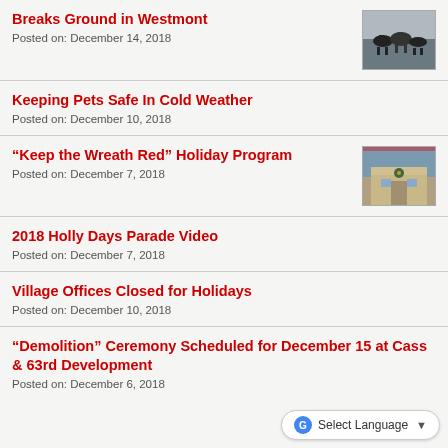Breaks Ground in Westmont
Posted on: December 14, 2018
Keeping Pets Safe In Cold Weather
Posted on: December 10, 2018
“Keep the Wreath Red” Holiday Program
Posted on: December 7, 2018
2018 Holly Days Parade Video
Posted on: December 7, 2018
Village Offices Closed for Holidays
Posted on: December 10, 2018
“Demolition” Ceremony Scheduled for December 15 at Cass & 63rd Development
Posted on: December 6, 2018